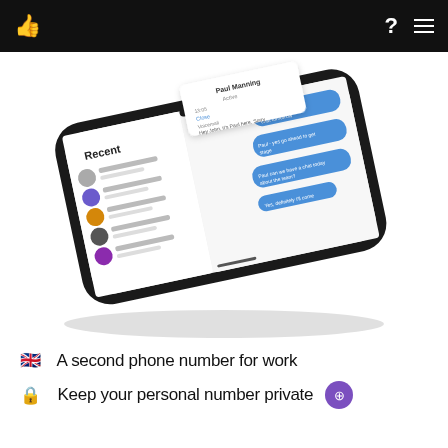Navigation bar with logo, help icon, and menu
[Figure (screenshot): A smartphone (iPhone X style) shown in landscape/diagonal orientation displaying a messaging app interface with a 'Recent' contacts list on the left and a chat conversation with blue speech bubbles on the right. The app shows conversations with Paul Manning and others.]
🇬🇧  A second phone number for work
🔒  Keep your personal number private